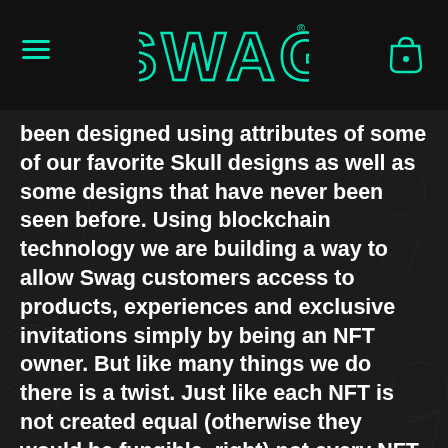SWAG
been designed using attributes of some of our favorite Skull designs as well as some designs that have never been seen before. Using blockchain technology we are building a way to allow Swag customers access to products, experiences and exclusive invitations simply by being an NFT owner. But like many things we do there is a twist. Just like each NFT is not created equal (otherwise they would be fungible, right) not every NFT will give you access to every product or experience. Each unique opportunity will have its own set of criteria. Sometimes the event will require a specific trait of an NFT and other times the event will require holding multiple NFTs. Sometimes the event will be for a very limited product and other times it will be a lottery for a large prize. Sometimes we might just do a random giveaway for simply holding something on a certain day. If you are familiar with Swag you know this is our jam. We have fun